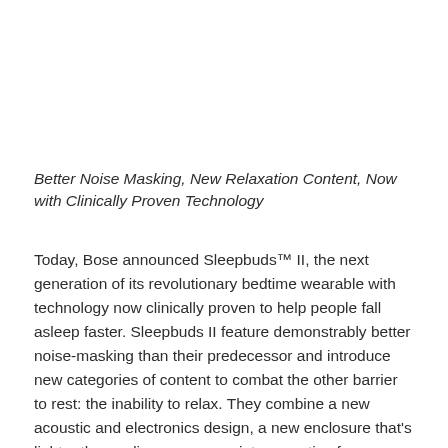Better Noise Masking, New Relaxation Content, Now with Clinically Proven Technology
Today, Bose announced Sleepbuds™ II, the next generation of its revolutionary bedtime wearable with technology now clinically proven to help people fall asleep faster. Sleepbuds II feature demonstrably better noise-masking than their predecessor and introduce new categories of content to combat the other barrier to rest: the inability to relax. They combine a new acoustic and electronics design, a new enclosure that's lighter than a dime, new proprietary ear tips for a secure, super-soft fit, and over 35 free tracks — all